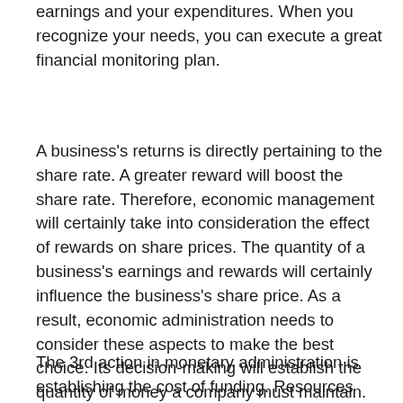earnings and your expenditures. When you recognize your needs, you can execute a great financial monitoring plan.
A business's returns is directly pertaining to the share rate. A greater reward will boost the share rate. Therefore, economic management will certainly take into consideration the effect of rewards on share prices. The quantity of a business's earnings and rewards will certainly influence the business's share price. As a result, economic administration needs to consider these aspects to make the best choice. Its decision-making will establish the quantity of money a company must maintain. The goal is to enhance the earning ability of the company.
The 3rd action in monetary administration is establishing the cost of funding. Resources budgeting is a crucial element of any company. The objective of this step is to intend and also forecast the expenses